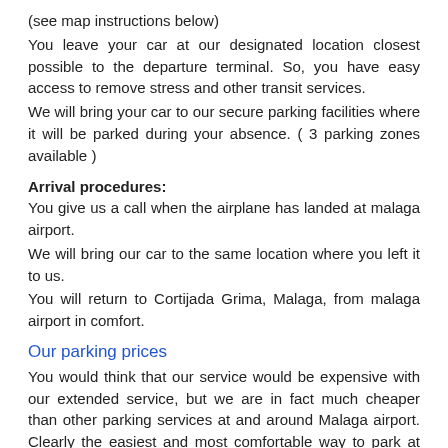(see map instructions below)
You leave your car at our designated location closest possible to the departure terminal. So, you have easy access to remove stress and other transit services.
We will bring your car to our secure parking facilities where it will be parked during your absence. ( 3 parking zones available )
Arrival procedures:
You give us a call when the airplane has landed at malaga airport.
We will bring our car to the same location where you left it to us.
You will return to Cortijada Grima, Malaga, from malaga airport in comfort.
Our parking prices
You would think that our service would be expensive with our extended service, but we are in fact much cheaper than other parking services at and around Malaga airport. Clearly the easiest and most comfortable way to park at malaga airport would be to use the parking right next to the terminal. But of course, it is very expensive. So, our solution is valet parking